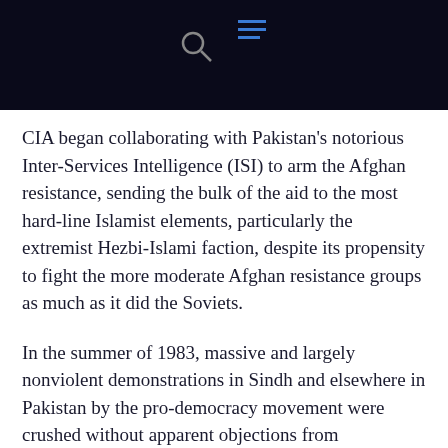[navigation bar with search and menu icons]
CIA began collaborating with Pakistan's notorious Inter-Services Intelligence (ISI) to arm the Afghan resistance, sending the bulk of the aid to the most hard-line Islamist elements, particularly the extremist Hezbi-Islami faction, despite its propensity to fight the more moderate Afghan resistance groups as much as it did the Soviets.
In the summer of 1983, massive and largely nonviolent demonstrations in Sindh and elsewhere in Pakistan by the pro-democracy movement were crushed without apparent objections from Washington. Pro-democracy agitation resumed later that decade to again